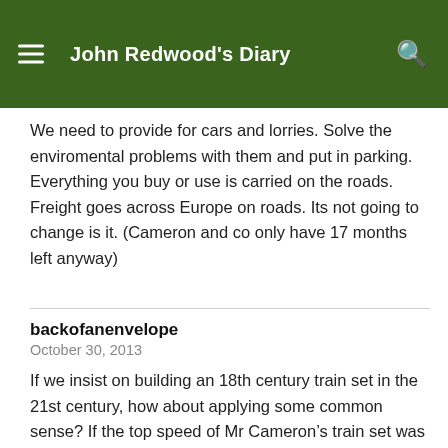John Redwood's Diary
We need to provide for cars and lorries. Solve the enviromental problems with them and put in parking. Everything you buy or use is carried on the roads. Freight goes across Europe on roads. Its not going to change is it. (Cameron and co only have 17 months left anyway)
backofanenvelope
October 30, 2013
If we insist on building an 18th century train set in the 21st century, how about applying some common sense? If the top speed of Mr Cameron’s train set was restricted to about 125 mph, what would that do to the price? Surely the track/signalling set up would cost much less and the rolling